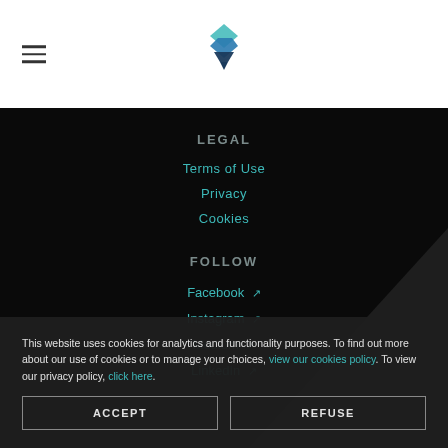[Figure (logo): Blue geometric layered diamond/arrow logo in header]
LEGAL
Terms of Use
Privacy
Cookies
FOLLOW
Facebook ↗
Instagram ↗
Medium ↗
LinkedIn ↗
This website uses cookies for analytics and functionality purposes. To find out more about our use of cookies or to manage your choices, view our cookies policy. To view our privacy policy, click here.
ACCEPT
REFUSE